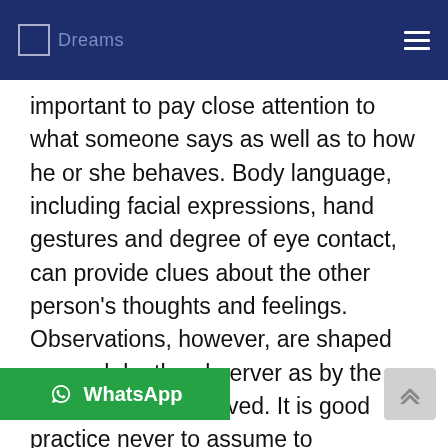Dreams
important to pay close attention to what someone says as well as to how he or she behaves. Body language, including facial expressions, hand gestures and degree of eye contact, can provide clues about the other person's thoughts and feelings. Observations, however, are shaped as much by the observer as by the person being observed. It is good practice never to assume to understand the other person without first asking, "Did I hear you right?", "I've noticed that you appear" or "I sense you are under strain. Do